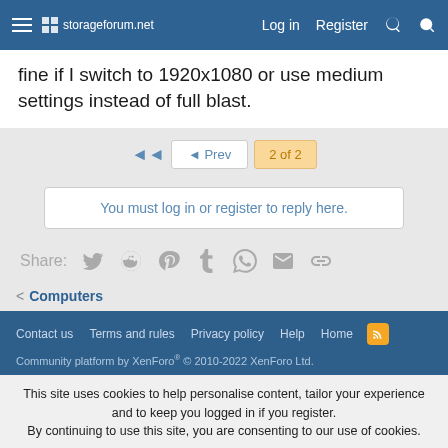storageforum.net  Log in  Register
fine if I switch to 1920x1080 or use medium settings instead of full blast.
◄  ◄ Prev  2 of 2
You must log in or register to reply here.
Share:
< Computers
Contact us  Terms and rules  Privacy policy  Help  Home
Community platform by XenForo® © 2010-2022 XenForo Ltd.
This site uses cookies to help personalise content, tailor your experience and to keep you logged in if you register.
By continuing to use this site, you are consenting to our use of cookies.
✓ Accept  Learn more...